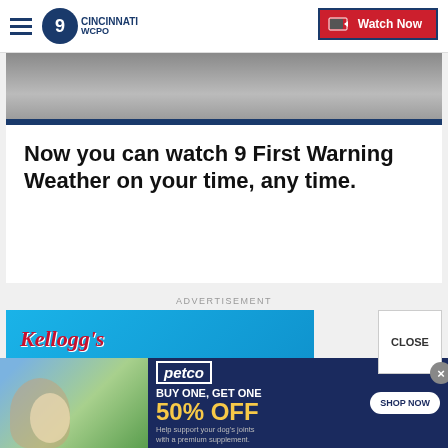WCPO 9 Cincinnati — Watch Now
[Figure (screenshot): Video thumbnail showing sky/clouds in grey tones with blue bar at bottom]
Now you can watch 9 First Warning Weather on your time, any time.
ADVERTISEMENT
[Figure (photo): Kellogg's Feeding Reading advertisement banner with blue background and cereal boxes]
[Figure (photo): Petco advertisement: BUY ONE, GET ONE 50% OFF - Help support your dog's joints with a premium supplement. SHOP NOW]